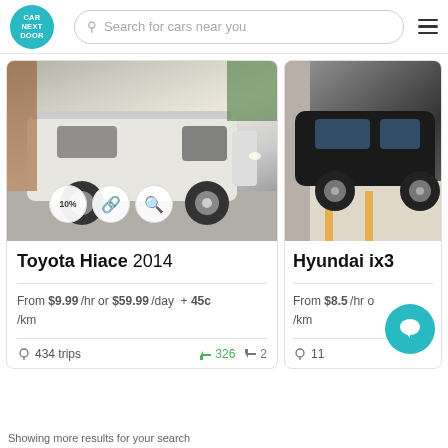CAR NEXT DOOR — Search for cars near you
[Figure (photo): White Toyota Hiace 2014 van parked in driveway, with three circular badge icons overlay (10%, chain link, key)]
Toyota Hiace 2014
From $9.99 /hr or $59.99 /day + 45c /km
434 trips  326 thumbs up  2 thumbs down
[Figure (photo): Black Hyundai ix35 parked in car park, partially visible]
Hyundai ix35
From $8.5 /hr o... /km
11...
Showing more results for your search